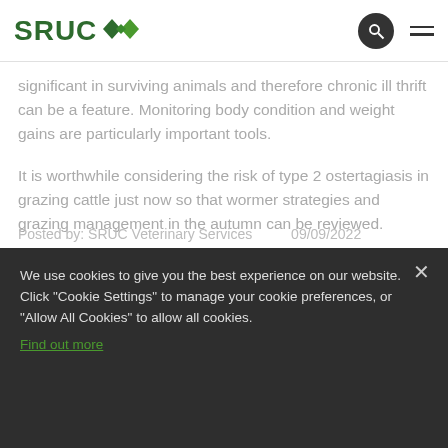SRUC
significant in surviving animals and therefore chronic ill thrift can be a feature. Monitoring body condition and weight gains are particularly important tools.
It is worthwhile considering the risk of type 2 ostertagiasis in grazing cattle just now so that wormer strategies and grazing management in the autumn can be reviewed.
Posted by: SRUC Veterinary Services   09/09/2022
We use cookies to give you the best experience on our website. Click "Cookie Settings" to manage your cookie preferences, or "Allow All Cookies" to allow all cookies. Find out more